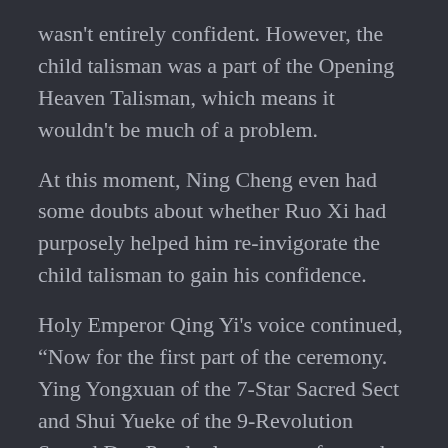wasn't entirely confident. However, the child talisman was a part of the Opening Heaven Talisman, which means it wouldn't be much of a problem.
At this moment, Ning Cheng even had some doubts about whether Ruo Xi had purposely helped him re-invigorate the child talisman to gain his confidence.
Holy Emperor Qing Yi's voice continued, “Now for the first part of the ceremony. Ying Yongxuan of the 7-Star Sacred Sect and Shui Yueke of the 9-Revolution Sacred Dao Pond, please come forward and make your vows before the distinguished guests.”